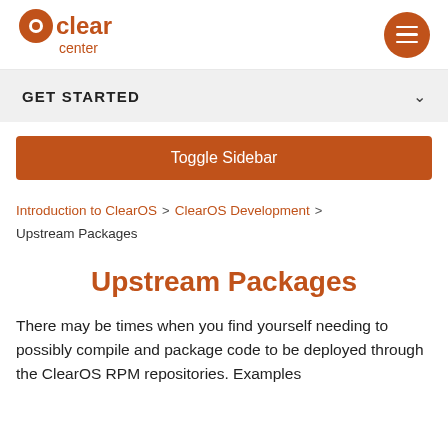[Figure (logo): ClearCenter logo in orange text with a circular 'c' icon]
GET STARTED
Toggle Sidebar
Introduction to ClearOS > ClearOS Development > Upstream Packages
Upstream Packages
There may be times when you find yourself needing to possibly compile and package code to be deployed through the ClearOS RPM repositories. Examples